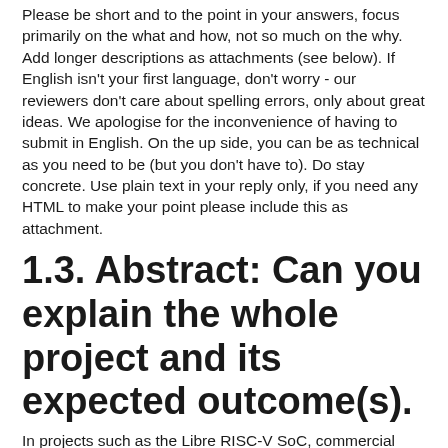Please be short and to the point in your answers, focus primarily on the what and how, not so much on the why. Add longer descriptions as attachments (see below). If English isn't your first language, don't worry - our reviewers don't care about spelling errors, only about great ideas. We apologise for the inconvenience of having to submit in English. On the up side, you can be as technical as you need to be (but you don't have to). Do stay concrete. Use plain text in your reply only, if you need any HTML to make your point please include this as attachment.
1.3. Abstract: Can you explain the whole project and its expected outcome(s).
In projects such as the Libre RISC-V SoC, commercial grade System-on-Chip (SoC) bus infrastructure is needed. Nowadays this often means AMBA AXI4, AXI4-lite or AXI4-Stream, published by ARM limited. The AXI family is